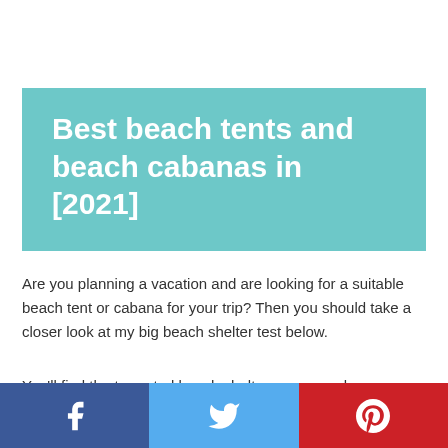Best beach tents and beach cabanas in [2021]
Are you planning a vacation and are looking for a suitable beach tent or cabana for your trip? Then you should take a closer look at my big beach shelter test below.
You'll find the top-rated beach shelters compared, so you can be sure you get a quality tent or cabana that meets your requirements.
[Figure (infographic): Social media sharing bar with Facebook, Twitter, and Pinterest buttons]